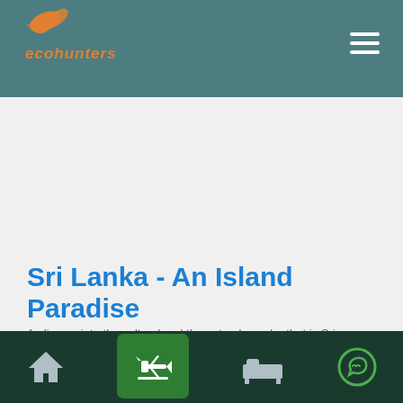ecohunters
Sri Lanka - An Island Paradise
A glimpse into the cultural and the natural wonder that is Sri Lanka.
Bottom navigation bar with home, flights, accommodations, and WhatsApp icons